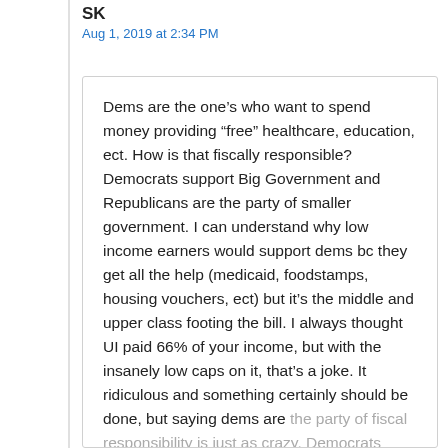SK
Aug 1, 2019 at 2:34 PM
Dems are the one’s who want to spend money providing “free” healthcare, education, ect. How is that fiscally responsible? Democrats support Big Government and Republicans are the party of smaller government. I can understand why low income earners would support dems bc they get all the help (medicaid, foodstamps, housing vouchers, ect) but it’s the middle and upper class footing the bill. I always thought UI paid 66% of your income, but with the insanely low caps on it, that’s a joke. It ridiculous and something certainly should be done, but saying dems are the party of fiscal responsibility is just as crazy. Democrats want to keep people on the public